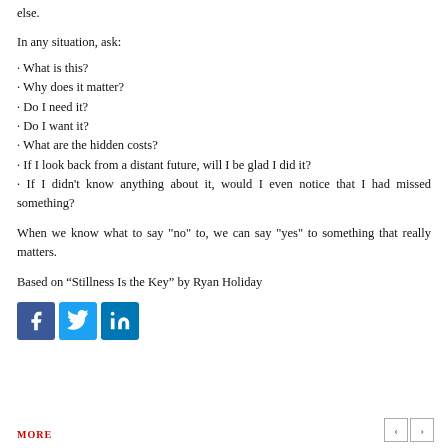else.
In any situation, ask:
· What is this?
· Why does it matter?
· Do I need it?
· Do I want it?
· What are the hidden costs?
· If I look back from a distant future, will I be glad I did it?
· If I didn't know anything about it, would I even notice that I had missed something?
When we know what to say "no" to, we can say "yes" to something that really matters.
Based on “Stillness Is the Key” by Ryan Holiday
[Figure (infographic): Social media share buttons: Facebook (blue), Twitter (light blue), LinkedIn (dark blue)]